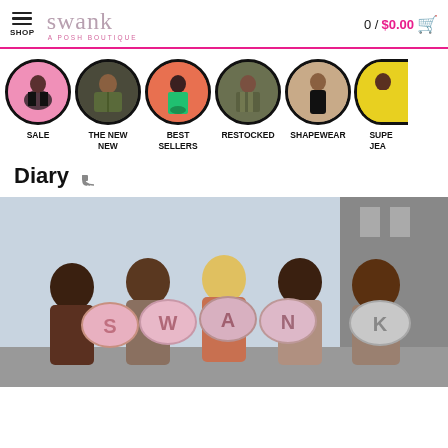SHOP | Swank A Posh Boutique | 0 / $0.00
[Figure (photo): Category navigation circles: SALE (woman in bikini, pink background), THE NEW NEW (woman in military jacket), BEST SELLERS (woman in green dress, orange background), RESTOCKED (woman in camo), SHAPEWEAR (woman in black dress), SUPE... JEA... (partial, woman in yellow)]
Diary
[Figure (photo): Group of five women outdoors holding large pink and silver balloon letters spelling SWANK, against a light sky and building background]